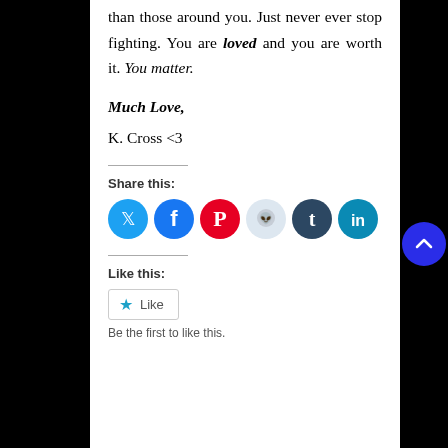...Embrace that your struggle may be harder than those around you. Just never ever stop fighting. You are loved and you are worth it. You matter.
Much Love,
K. Cross <3
Share this:
[Figure (other): Social share icons: Twitter, Facebook, Pinterest, Reddit, Tumblr, LinkedIn]
Like this:
Like
Be the first to like this.